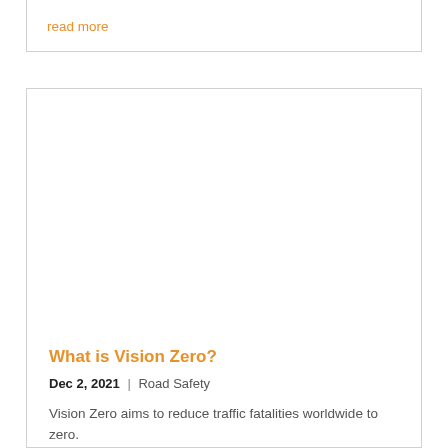read more
[Figure (photo): White/blank image area inside article card]
What is Vision Zero?
Dec 2, 2021 | Road Safety
Vision Zero aims to reduce traffic fatalities worldwide to zero.